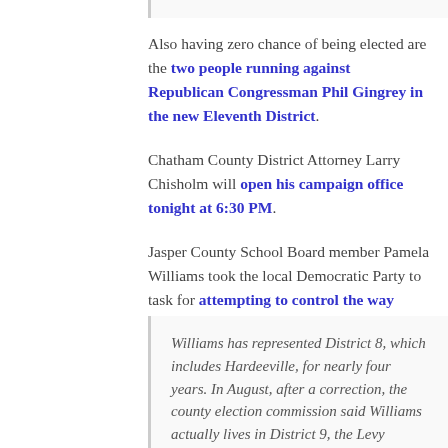Also having zero chance of being elected are the two people running against Republican Congressman Phil Gingrey in the new Eleventh District.
Chatham County District Attorney Larry Chisholm will open his campaign office tonight at 6:30 PM.
Jasper County School Board member Pamela Williams took the local Democratic Party to task for attempting to control the way elected officials vote once in office.
Williams has represented District 8, which includes Hardeeville, for nearly four years. In August, after a correction, the county election commission said Williams actually lives in District 9, the Levy precinct.
She said she approached County Council because she